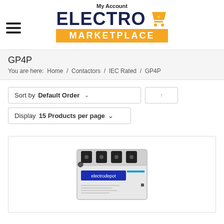My Account
[Figure (logo): Electro Marketplace logo with shopping cart icon and orange banner]
GP4P
You are here: Home / Contactors / IEC Rated / GP4P
Sort by Default Order
Display 15 Products per page
[Figure (photo): GP4P contactor device product photo showing electrodepot branded white contactor unit with 4 terminals on top]